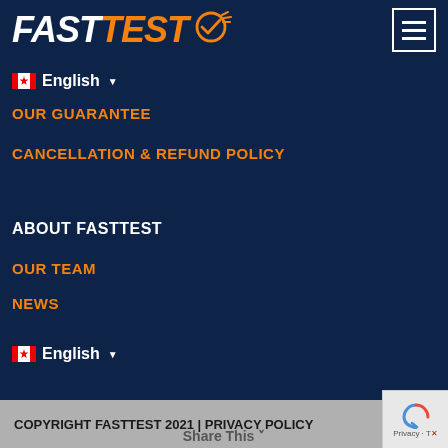FASTTEST
🇨🇦 English ▾
OUR GUARANTEE
CANCELLATION & REFUND POLICY
ABOUT FASTTEST
OUR TEAM
NEWS
🇨🇦 English ▾
COPYRIGHT FASTTEST 2021 | PRIVACY POLICY